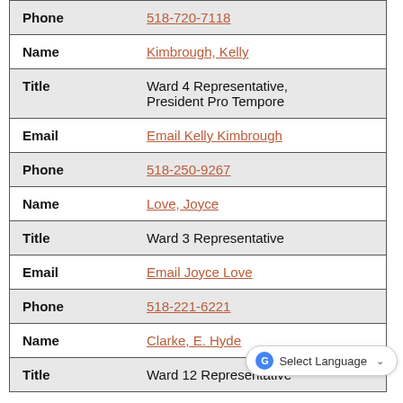| Field | Value |
| --- | --- |
| Phone | 518-720-7118 |
| Name | Kimbrough, Kelly |
| Title | Ward 4 Representative, President Pro Tempore |
| Email | Email Kelly Kimbrough |
| Phone | 518-250-9267 |
| Name | Love, Joyce |
| Title | Ward 3 Representative |
| Email | Email Joyce Love |
| Phone | 518-221-6221 |
| Name | Clarke, E. Hyde |
| Title | Ward 12 Representative |